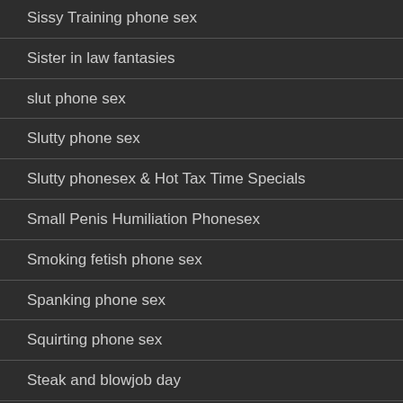Sissy Training phone sex
Sister in law fantasies
slut phone sex
Slutty phone sex
Slutty phonesex & Hot Tax Time Specials
Small Penis Humiliation Phonesex
Smoking fetish phone sex
Spanking phone sex
Squirting phone sex
Steak and blowjob day
stockings